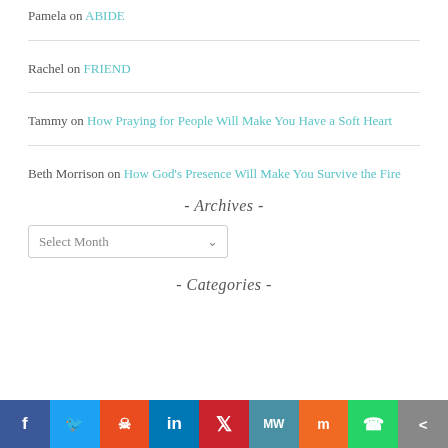Pamela on ABIDE
Rachel on FRIEND
Tammy on How Praying for People Will Make You Have a Soft Heart
Beth Morrison on How God's Presence Will Make You Survive the Fire
- Archives -
Select Month (dropdown)
- Categories -
[Figure (other): Social media sharing bar with icons for Facebook, Twitter, Reddit, LinkedIn, Pinterest, MeWe, Mix, WhatsApp, and Share]